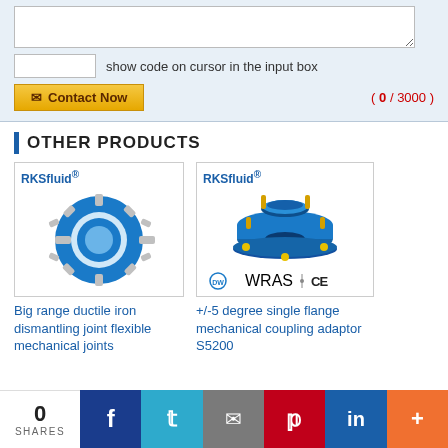[Figure (screenshot): Contact form with textarea, code input box, and Contact Now button with character counter (0/3000)]
OTHER PRODUCTS
[Figure (photo): RKSfluid® Big range ductile iron dismantling joint flexible mechanical joints - blue ring with metal bolts]
Big range ductile iron dismantling joint flexible mechanical joints
[Figure (photo): RKSfluid® +/-5 degree single flange mechanical coupling adaptor S5200 - blue flange adaptor with yellow bolts, WRAS CE certified]
+/-5 degree single flange mechanical coupling adaptor S5200
[Figure (infographic): Social sharing bar with 0 SHARES, Facebook, Twitter, Email, Pinterest, LinkedIn, More buttons]